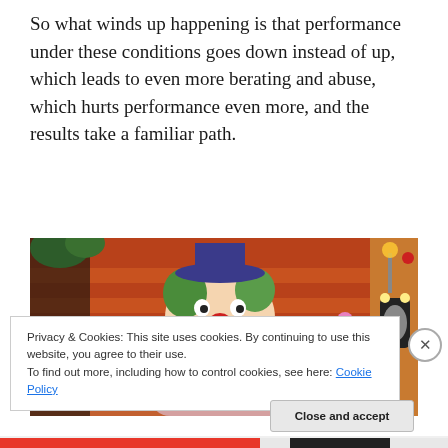So what winds up happening is that performance under these conditions goes down instead of up, which leads to even more berating and abuse, which hurts performance even more, and the results take a familiar path.
[Figure (photo): Animated 3D clown character in a dressing room setting, wearing a striped costume with a bow tie and flower, holding a small pink balloon animal, with a mirror and warm lighting in the background.]
Privacy & Cookies: This site uses cookies. By continuing to use this website, you agree to their use.
To find out more, including how to control cookies, see here: Cookie Policy
Close and accept